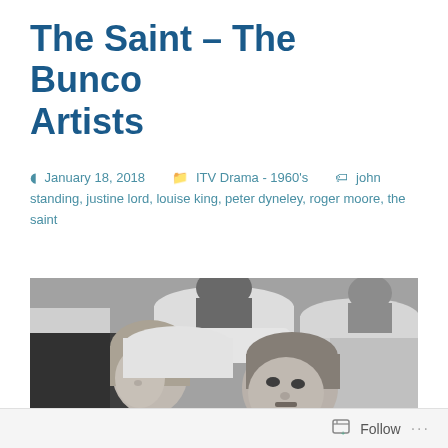The Saint – The Bunco Artists
January 18, 2018  ITV Drama - 1960's  john standing, justine lord, louise king, peter dyneley, roger moore, the saint
[Figure (photo): Black and white photograph showing two people in what appears to be airplane seats. A woman on the left and a man on the right are in close conversation. Additional passengers are visible in the background.]
Follow